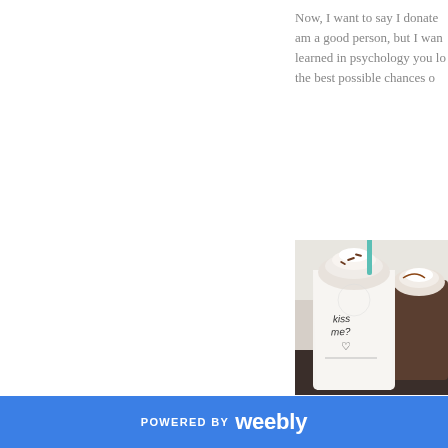Now, I want to say I donate... am a good person, but I wan... learned in psychology you lo... the best possible chances o...
[Figure (photo): Two Starbucks Frappuccino cups with whipped cream on top. The front cup is white/vanilla colored with 'kiss me? ♡' written on it in marker. A teal straw is visible at the top. The second cup is darker colored. Both sit on a dark surface.]
POWERED BY weebly